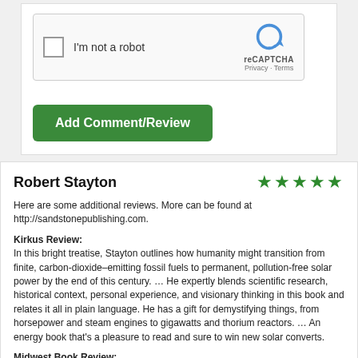[Figure (screenshot): reCAPTCHA widget with checkbox labeled 'I'm not a robot' and reCAPTCHA logo with Privacy and Terms links]
Add Comment/Review
Robert Stayton
[Figure (other): Five green star rating]
Here are some additional reviews. More can be found at http://sandstonepublishing.com.
Kirkus Review:
In this bright treatise, Stayton outlines how humanity might transition from finite, carbon-dioxide–emitting fossil fuels to permanent, pollution-free solar power by the end of this century. … He expertly blends scientific research, historical context, personal experience, and visionary thinking in this book and relates it all in plain language. He has a gift for demystifying things, from horsepower and steam engines to gigawatts and thorium reactors. … An energy book that's a pleasure to read and sure to win new solar converts.
Midwest Book Review:
Exceptionally well written, organized and presented, "Power Shift" by Robert Arthur Stayton (who has a masters degree in physics and has taught college courses in physics, energy, and solar energy at the University of California Santa Cruz and Cabrillo College, as well as actively participating in community energy activities) is very highly recommended for both community and academic library collections. It is especially commended to the attention of non-specialist general readers with an interest in alternative energy issues and the inevitable transition form petroleum based energy to non-fossil fuel resources. It should be noted for personal reading lists that "Power Shift" is also available in a Kindle edition ($15.99)
US Review of Books: